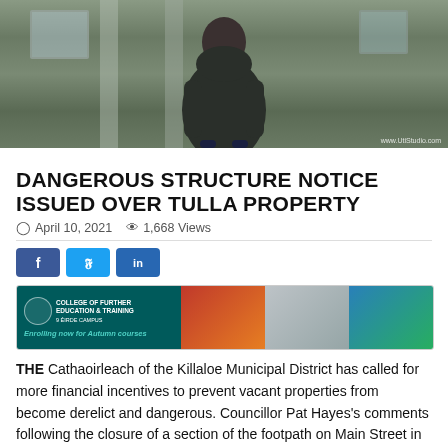[Figure (photo): Person standing in front of a weathered building exterior, wearing a dark puffer jacket, hands in pockets. Watermark: www.UtiStudio.com]
DANGEROUS STRUCTURE NOTICE ISSUED OVER TULLA PROPERTY
April 10, 2021   1,668 Views
[Figure (infographic): College of Further Education & Training advertisement banner. Text: Enrolling now for Autumn courses]
THE Cathaoirleach of the Killaloe Municipal District has called for more financial incentives to prevent vacant properties from become derelict and dangerous. Councillor Pat Hayes's comments following the closure of a section of the footpath on Main Street in Tulla after a dangerous structure notice was issued on an empty building.